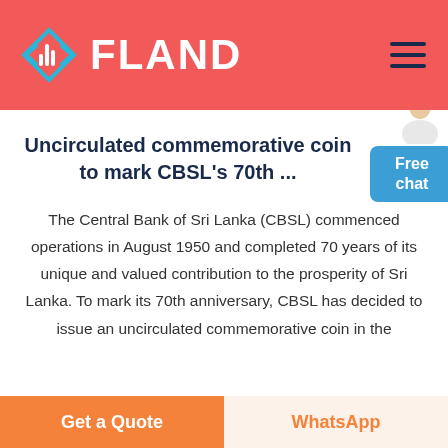FLAND
Uncirculated commemorative coin to mark CBSL's 70th ...
The Central Bank of Sri Lanka (CBSL) commenced operations in August 1950 and completed 70 years of its unique and valued contribution to the prosperity of Sri Lanka. To mark its 70th anniversary, CBSL has decided to issue an uncirculated commemorative coin in the
Get a Quote | WhatsApp